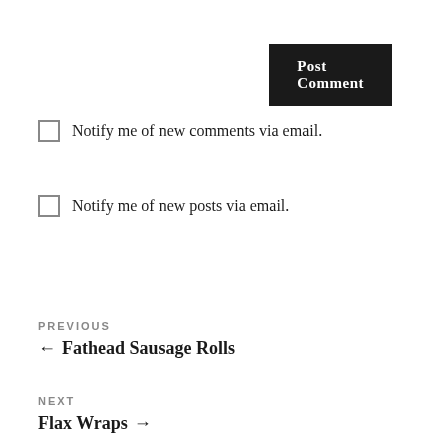[Figure (screenshot): Dark 'Post Comment' button in top-right area of the page]
Notify me of new comments via email.
Notify me of new posts via email.
PREVIOUS
← Fathead Sausage Rolls
NEXT
Flax Wraps →